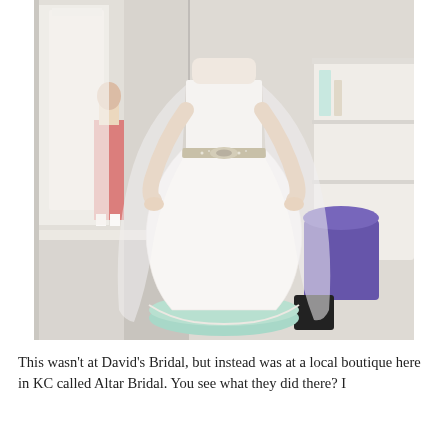[Figure (photo): A woman wearing a white lace mermaid-style wedding dress with a jeweled belt and a long veil, standing on a mint-green platform in a bridal boutique fitting room. A mirror is visible behind her reflecting the room.]
This wasn't at David's Bridal, but instead was at a local boutique here in KC called Altar Bridal. You see what they did there? I